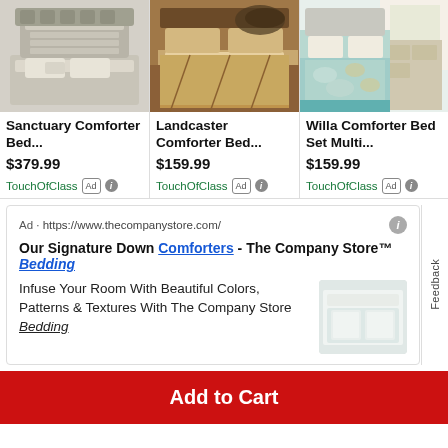[Figure (photo): Product photo of Sanctuary Comforter Bed Set - white/grey tufted bedding]
Sanctuary Comforter Bed...
$379.99
TouchOfClass [Ad] (i)
[Figure (photo): Product photo of Landcaster Comforter Bed Set - tan/brown bedding]
Landcaster Comforter Bed...
$159.99
TouchOfClass [Ad] (i)
[Figure (photo): Product photo of Willa Comforter Bed Set Multi - teal/gold patterned bedding]
Willa Comforter Bed Set Multi...
$159.99
TouchOfClass [Ad]
Ad · https://www.thecompanystore.com/
Our Signature Down Comforters - The Company Store™ Bedding
Infuse Your Room With Beautiful Colors, Patterns & Textures With The Company Store Bedding
[Figure (photo): Thumbnail image of white down comforter/bedding]
Add to Cart